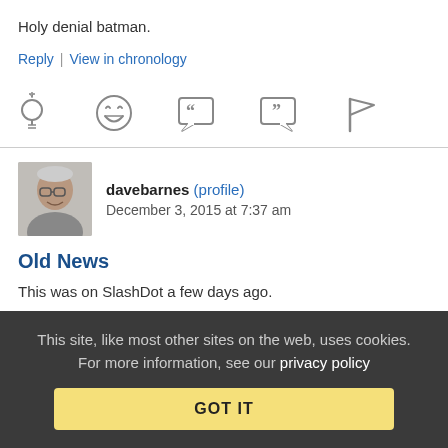Holy denial batman.
Reply | View in chronology
[Figure (other): Row of 5 action icons: lightbulb (idea), laughing emoji, open-quote speech bubble, close-quote speech bubble, flag]
[Figure (photo): Avatar photo of davebarnes, older man with glasses]
davebarnes (profile)   December 3, 2015 at 7:37 am
Old News
This was on SlashDot a few days ago.
This site, like most other sites on the web, uses cookies. For more information, see our privacy policy
GOT IT